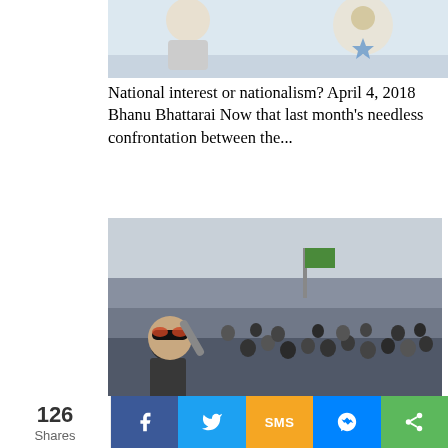[Figure (illustration): Cartoon/illustration image partially visible at top, showing stylized figures on a light blue/grey background]
National interest or nationalism? April 4, 2018 Bhanu Bhattarai Now that last month's needless confrontation between the...
[Figure (photo): A man wearing sunglasses takes a selfie with a massive crowd of people in the background, outdoors, with flags visible]
Buddha in suburbia March 30, 2018 Basanta Maharjan in Himal Khabarpatrika, 18-24 March Last month, ever
126 Shares  f  [Twitter bird]  SMS  [Messenger]  [Share]